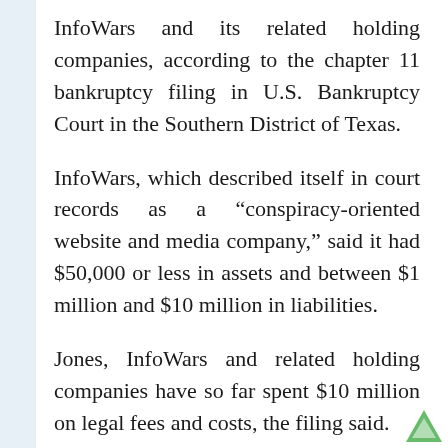InfoWars and its related holding companies, according to the chapter 11 bankruptcy filing in U.S. Bankruptcy Court in the Southern District of Texas.
InfoWars, which described itself in court records as a “conspiracy-oriented website and media company,” said it had $50,000 or less in assets and between $1 million and $10 million in liabilities.
Jones, InfoWars and related holding companies have so far spent $10 million on legal fees and costs, the filing said.
Courts in Connecticut and Texas have found Jones liable in several defamation cases, though they have yet to rule on damages